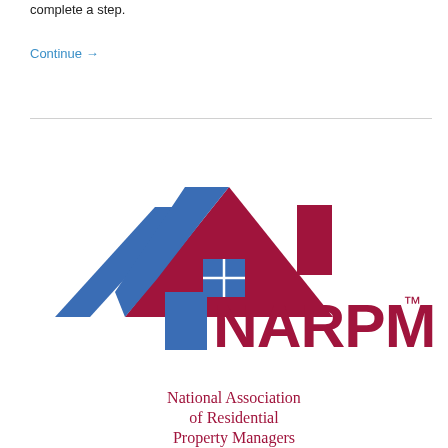complete a step.
Continue →
[Figure (logo): NARPM logo: house outline in red and blue with blue door and blue window, NARPM text in dark red with TM superscript]
National Association of Residential Property Managers